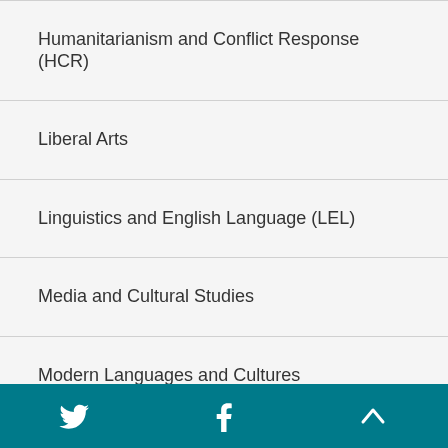Humanitarianism and Conflict Response (HCR)
Liberal Arts
Linguistics and English Language (LEL)
Media and Cultural Studies
Modern Languages and Cultures
Twitter | Facebook | Back to top